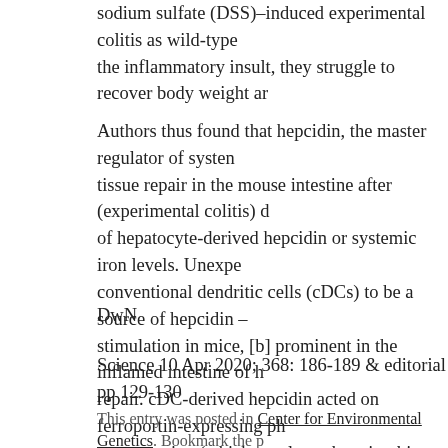sodium sulfate (DSS)–induced experimental colitis as wild-type the inflammatory insult, they struggle to recover body weight ar
Authors thus found that hepcidin, the master regulator of systen tissue repair in the mouse intestine after (experimental colitis) d of hepatocyte-derived hepcidin or systemic iron levels. Unexpe conventional dendritic cells (cDCs) to be a source of hepcidin – stimulation in mice, [b] prominent in the inflamed intestine of h repair. cDC-derived hepcidin acted on ferroportin-expressing ph sequestration (which regulates the microbiota and consequently Collectively, these data identify a pathway whereby cDC-derive healing in the intestine through a mechanism of nutritional imm
DwN
Science 10 Apr 2020; 368: 186-189 & editorial pp 129-130
This entry was posted in Center for Environmental Genetics. Bookmark the p